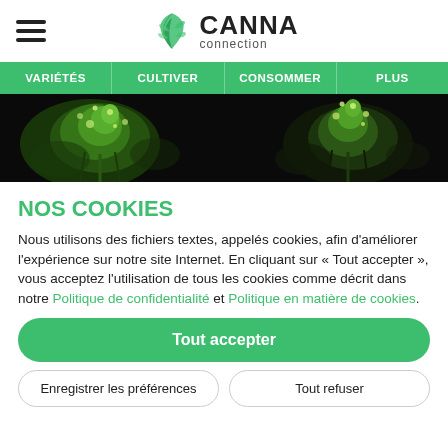CANNA connection
VARIÉTÉS | CULTIVER | CONSOMMER | PLUS
[Figure (photo): Two cannabis bud photos side by side on dark/black background]
NOS COOKIES
Nous utilisons des fichiers textes, appelés cookies, afin d'améliorer l'expérience sur notre site Internet. En cliquant sur « Tout accepter », vous acceptez l'utilisation de tous les cookies comme décrit dans notre Politique de confidentialité et Politique en matière de cookies.
Tout accepter
Enregistrer les préférences
Tout refuser